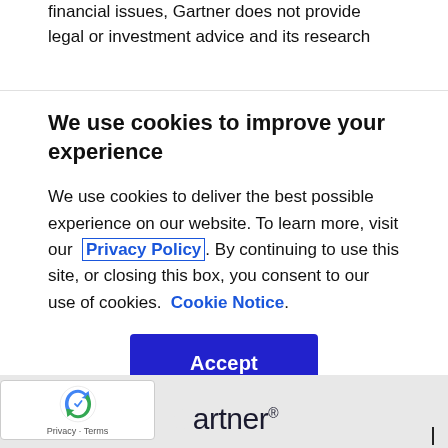financial issues, Gartner does not provide legal or investment advice and its research
We use cookies to improve your experience
We use cookies to deliver the best possible experience on our website. To learn more, visit our Privacy Policy. By continuing to use this site, or closing this box, you consent to our use of cookies. Cookie Notice.
[Figure (other): Accept button - dark blue rectangular button with white bold text reading 'Accept']
[Figure (logo): reCAPTCHA badge with logo and Privacy - Terms text, alongside Gartner wordmark logo on grey footer bar]